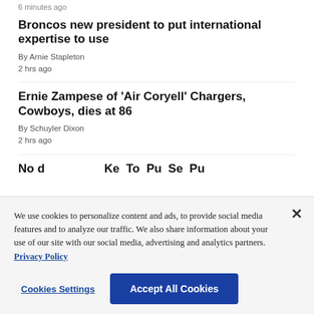6 minutes ago
Broncos new president to put international expertise to use
By Arnie Stapleton
2 hrs ago
Ernie Zampese of 'Air Coryell' Chargers, Cowboys, dies at 86
By Schuyler Dixon
2 hrs ago
No d... ...d Ke To Pu Se Pu
We use cookies to personalize content and ads, to provide social media features and to analyze our traffic. We also share information about your use of our site with our social media, advertising and analytics partners. Privacy Policy
Cookies Settings
Accept All Cookies